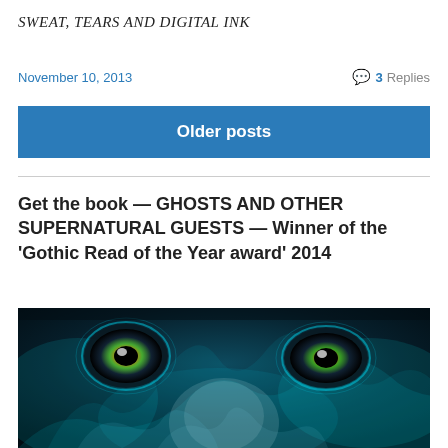SWEAT, TEARS AND DIGITAL INK
November 10, 2013
3 Replies
Older posts
Get the book — GHOSTS AND OTHER SUPERNATURAL GUESTS — Winner of the ‘Gothic Read of the Year award’ 2014
[Figure (photo): Close-up of a ghostly face with glowing teal/cyan smoke and bright orange-green eyes against a dark background — book cover image for GHOSTS AND OTHER SUPERNATURAL GUESTS]